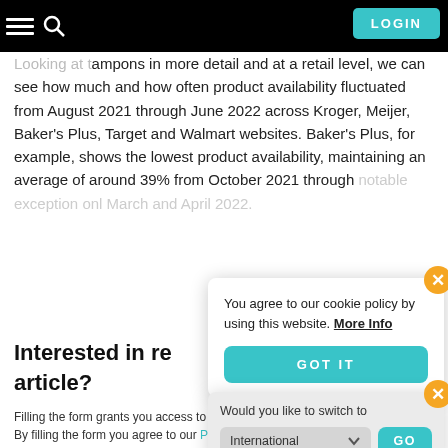LOGIN
Looking at tampons in more detail and at a retail level, we can see how much and how often product availability fluctuated from August 2021 through June 2022 across Kroger, Meijer, Baker's Plus, Target and Walmart websites. Baker's Plus, for example, shows the lowest product availability, maintaining an average of around 39% from October 2021 through [faded] notable exception only [faded] March and April 2022 [faded]
[Figure (screenshot): Cookie consent popup: 'You agree to our cookie policy by using this website. More Info' with a GOT IT button and orange X close button]
[Figure (screenshot): Region switch popup: 'Would you like to switch to' with International dropdown and GO button and orange X close button]
Interested in re article?
Filling the form grants you access to all our gated posts for the next 30 days. By filling the form you agree to our Privacy Policy